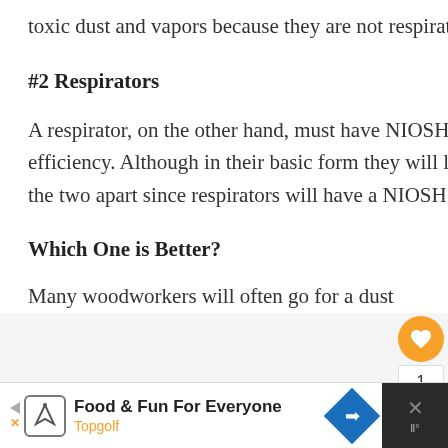toxic dust and vapors because they are not respirators.
#2 Respirators
A respirator, on the other hand, must have NIOSH approval and a number to indicate the efficiency. Although in their basic form they will look like dust masks you can always tell the two apart since respirators will have a NIOSH label; most will also have two straps.
Which One is Better?
Many woodworkers will often go for a dust
Food & Fun For Everyone Topgolf